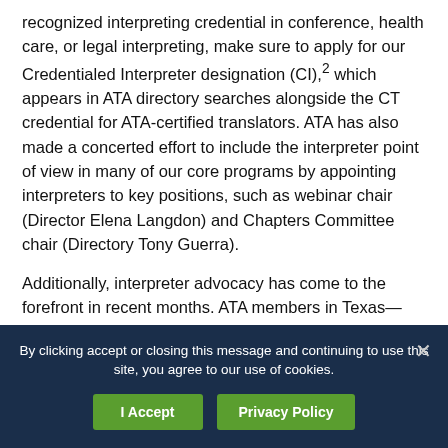recognized interpreting credential in conference, health care, or legal interpreting, make sure to apply for our Credentialed Interpreter designation (CI),2 which appears in ATA directory searches alongside the CT credential for ATA-certified translators. ATA has also made a concerted effort to include the interpreter point of view in many of our core programs by appointing interpreters to key positions, such as webinar chair (Director Elena Langdon) and Chapters Committee chair (Directory Tony Guerra).
Additionally, interpreter advocacy has come to the forefront in recent months. ATA members in Texas—including Austin Area Translators and Interpreters
By clicking accept or closing this message and continuing to use this site, you agree to our use of cookies.